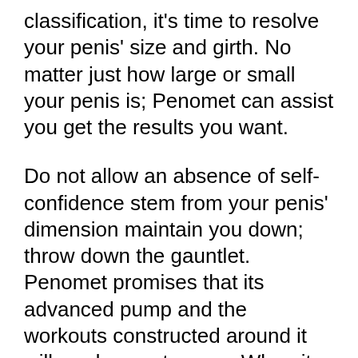classification, it's time to resolve your penis' size and girth. No matter just how large or small your penis is; Penomet can assist you get the results you want.
Do not allow an absence of self-confidence stem from your penis' dimension maintain you down; throw down the gauntlet. Penomet promises that its advanced pump and the workouts constructed around it will produce outcomes. When it comes to changing the one part of your body that you never assumed would enhance or expand, it's never been simpler.
The Penomet pump has actually come to be a market leader in the field of penis enlargement. It is a superb choice to surgical